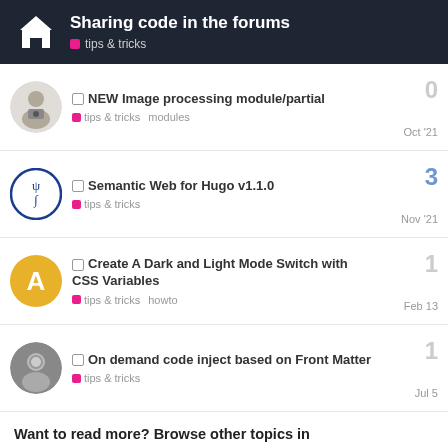Sharing code in the forums — tips & tricks
NEW Image processing module/partial — tips & tricks, modules — Oct '21 — 0 replies
Semantic Web for Hugo v1.1.0 — tips & tricks — Nov '21 — 3 replies
Create A Dark and Light Mode Switch with CSS Variables — tips & tricks, howto — Feb 13 — 1 reply
On demand code inject based on Front Matter — tips & tricks — Jul 5 — 1 reply
Want to read more? Browse other topics in tips & tricks or view latest topics.